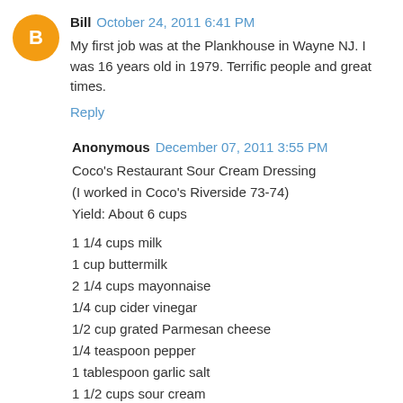Bill  October 24, 2011 6:41 PM
My first job was at the Plankhouse in Wayne NJ. I was 16 years old in 1979. Terrific people and great times.
Reply
Anonymous  December 07, 2011 3:55 PM
Coco's Restaurant Sour Cream Dressing
(I worked in Coco's Riverside 73-74)
Yield: About 6 cups
1 1/4 cups milk
1 cup buttermilk
2 1/4 cups mayonnaise
1/4 cup cider vinegar
1/2 cup grated Parmesan cheese
1/4 teaspoon pepper
1 tablespoon garlic salt
1 1/2 cups sour cream
Procedure: